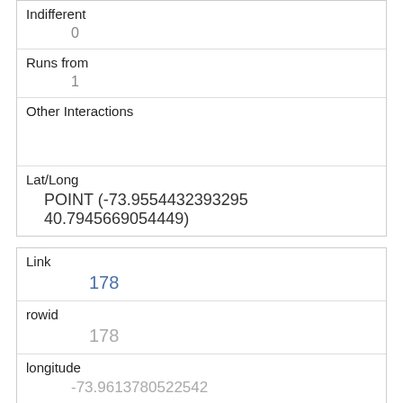| Indifferent | 0 |
| Runs from | 1 |
| Other Interactions |  |
| Lat/Long | POINT (-73.9554432393295 40.7945669054449) |
| Link | 178 |
| rowid | 178 |
| longitude | -73.9613780522542 |
| latitude | 40.790786197111004 |
| Unique Squirrel ID | 31D-PM-1006-04 |
| Hectare |  |